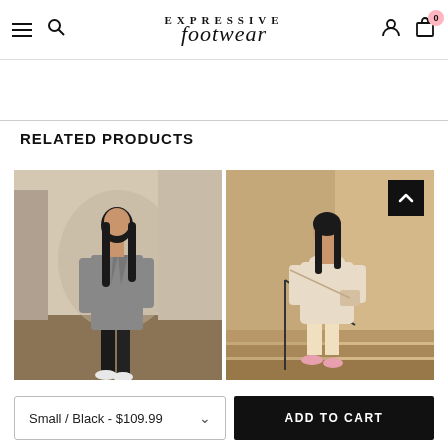EXPRESSIVE footwear — navigation header with hamburger, search, logo, user, cart (0)
RELATED PRODUCTS
[Figure (photo): Woman with long black hair wearing a grey blazer-style coat and white sneakers standing in a modern interior space]
[Figure (photo): Woman wearing a cream/beige hoodie and pink shorts with pink sneakers standing on steps near ornate stone architecture]
Small / Black - $109.99
ADD TO CART